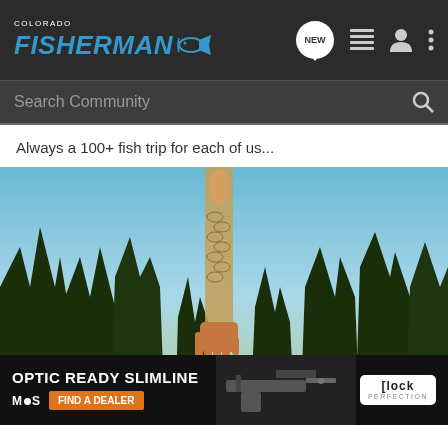Colorado Fisherman
Always a 100+ fish trip for each of us...
[Figure (photo): A fish being held up by hand against a backdrop of pine trees and blue sky, outdoors in Colorado mountains. An advertisement banner at the bottom reads 'OPTIC READY SLIMLINE' with 'MOS FIND A DEALER' and Glock Perfection logo.]